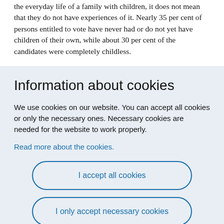the everyday life of a family with children, it does not mean that they do not have experiences of it. Nearly 35 per cent of persons entitled to vote have never had or do not yet have children of their own, while about 30 per cent of the candidates were completely childless.
Information about cookies
We use cookies on our website. You can accept all cookies or only the necessary ones. Necessary cookies are needed for the website to work properly.
Read more about the cookies.
I accept all cookies
I only accept necessary cookies